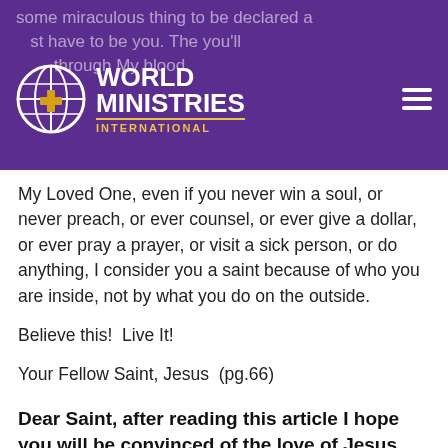World Ministries International
My Loved One, even if you never win a soul, or never preach, or ever counsel, or ever give a dollar, or ever pray a prayer, or visit a sick person, or do anything, I consider you a saint because of who you are inside, not by what you do on the outside.
Believe this!  Live It!
Your Fellow Saint, Jesus  (pg.66)
Dear Saint, after reading this article I hope you will be convinced of the love of Jesus Christ for you and me.  Certainly,